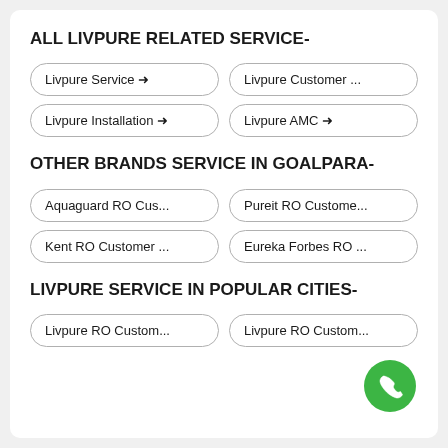ALL LIVPURE RELATED SERVICE-
Livpure Service →
Livpure Customer ...
Livpure Installation →
Livpure AMC →
OTHER BRANDS SERVICE IN GOALPARA-
Aquaguard RO Cus...
Pureit RO Custome...
Kent RO Customer ...
Eureka Forbes RO ...
LIVPURE SERVICE IN POPULAR CITIES-
Livpure RO Custom...
Livpure RO Custom...